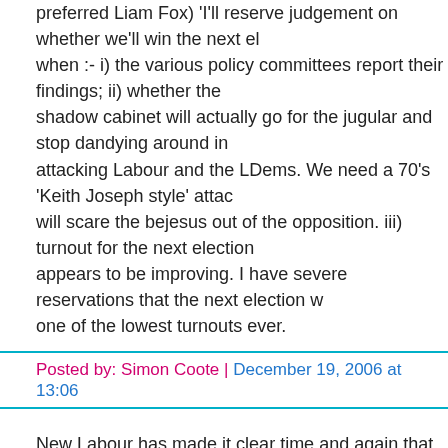preferred Liam Fox) 'I'll reserve judgement on whether we'll win the next election when :- i) the various policy committees report their findings; ii) whether the shadow cabinet will actually go for the jugular and stop dandying around in attacking Labour and the LDems. We need a 70's 'Keith Joseph style' attack that will scare the bejesus out of the opposition. iii) turnout for the next election appears to be improving. I have severe reservations that the next election will be one of the lowest turnouts ever.
Posted by: Simon Coote | December 19, 2006 at 13:06
New Labour has made it clear time and again that an unwritten constitution is simply there to be reshaped in accordance with the Labour Party's partisan wishes.
Posted by: Michael McGowan | December 19, 2006 at 13:10
"I believe in the wisdom and desency of the British people so I think that whatever system of voting we have there we will ever see an MP from UKIP or the BNP" Jack Stone
Nothing to do with wisdom and decency - under PR, it's plain mathematics.
"New Labour has made it clear time and again that an unwritten constitution is simply there to be reshaped in accordance with the Labour Party's partisan